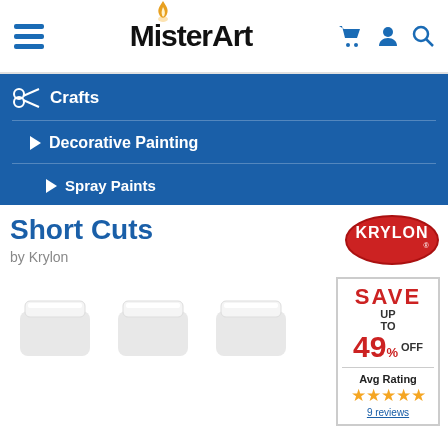MisterArt
Crafts
Decorative Painting
Spray Paints
Short Cuts
by Krylon
[Figure (logo): Krylon red oval logo with white KRYLON text]
SAVE UP TO 49% OFF
Avg Rating
9 reviews
[Figure (photo): Three Krylon Short Cuts spray paint cans with white caps, partially visible at bottom of page]